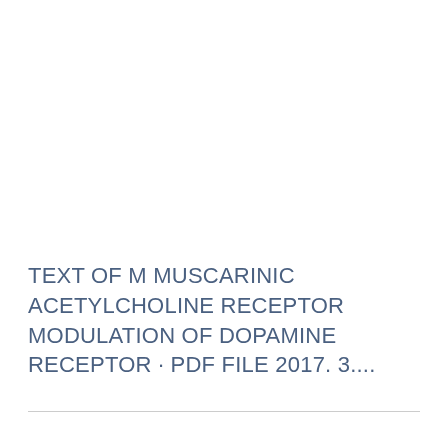TEXT OF M MUSCARINIC ACETYLCHOLINE RECEPTOR MODULATION OF DOPAMINE RECEPTOR · PDF FILE 2017. 3....